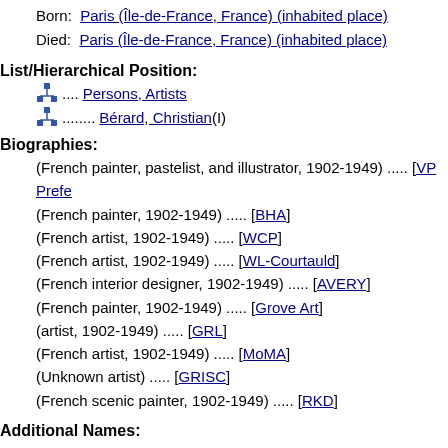Born: Paris (Île-de-France, France) (inhabited place)
Died: Paris (Île-de-France, France) (inhabited place)
List/Hierarchical Position:
.... Persons, Artists
........ Bérard, Christian (I)
Biographies:
(French painter, pastelist, and illustrator, 1902-1949) ..... [VP Prefe...
(French painter, 1902-1949) ..... [BHA]
(French artist, 1902-1949) ..... [WCP]
(French artist, 1902-1949) ..... [WL-Courtauld]
(French interior designer, 1902-1949) ..... [AVERY]
(French painter, 1902-1949) ..... [Grove Art]
(artist, 1902-1949) ..... [GRL]
(French artist, 1902-1949) ..... [MoMA]
(Unknown artist) ..... [GRISC]
(French scenic painter, 1902-1949) ..... [RKD]
Additional Names:
Sources and Contributors:
Bérard, Christian ........ [AVERY Preferred, BHA Preferred, GRISC Preferred, MoMA Preferred, RKD Preferred
............................  Allgemeines Künstlerlexikon. Internationale  February 2008
Artists, Museum of Modern Art (MoMA) Ne...